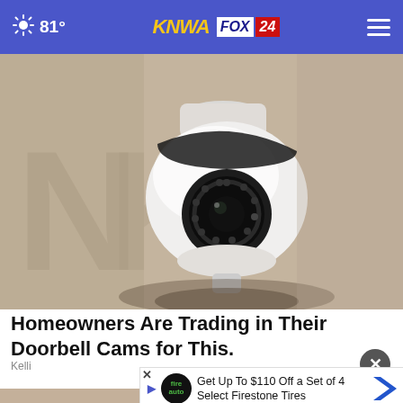81° KNWA FOX 24
[Figure (photo): Close-up photo of a white dome security/PTZ camera mounted on a beige wall, with a circular lens and black sensor ring visible]
Homeowners Are Trading in Their Doorbell Cams for This.
Kellin
Get Up To $110 Off a Set of 4 Select Firestone Tires